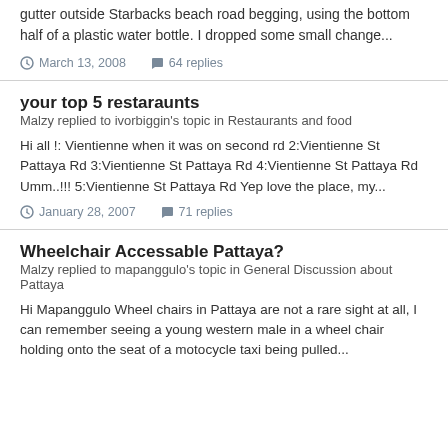gutter outside Starbacks beach road begging, using the bottom half of a plastic water bottle. I dropped some small change...
March 13, 2008   64 replies
your top 5 restaraunts
Malzy replied to ivorbiggin's topic in Restaurants and food
Hi all !: Vientienne when it was on second rd 2:Vientienne St Pattaya Rd 3:Vientienne St Pattaya Rd 4:Vientienne St Pattaya Rd Umm..!!! 5:Vientienne St Pattaya Rd Yep love the place, my...
January 28, 2007   71 replies
Wheelchair Accessable Pattaya?
Malzy replied to mapanggulo's topic in General Discussion about Pattaya
Hi Mapanggulo Wheel chairs in Pattaya are not a rare sight at all, I can remember seeing a young western male in a wheel chair holding onto the seat of a motocycle taxi being pulled...